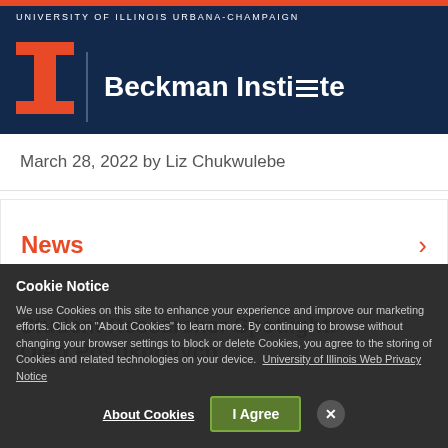UNIVERSITY OF ILLINOIS URBANA-CHAMPAIGN | Beckman Institute
March 28, 2022 by Liz Chukwulebe
News
Student Researcher Spotlight: Oleg Posukhovych
Cookie Notice
We use Cookies on this site to enhance your experience and improve our marketing efforts. Click on "About Cookies" to learn more. By continuing to browse without changing your browser settings to block or delete Cookies, you agree to the storing of Cookies and related technologies on your device. University of Illinois Web Privacy Notice